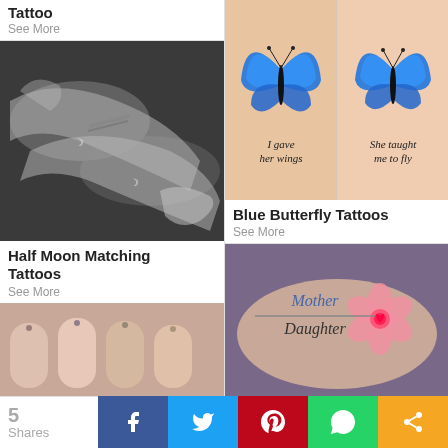Tattoo
See More
[Figure (photo): Black and white photo of two wrists with small half moon tattoos and bracelets]
Half Moon Matching Tattoos
See More
[Figure (photo): Colorful blue butterfly tattoos with script text reading 'I gave her wings' and 'She taught me to fly']
Blue Butterfly Tattoos
See More
[Figure (photo): Arm tattoo with pink flower and script reading 'Mother Daughter']
[Figure (photo): Close up of fingertip tattoos on hand]
5 Shares